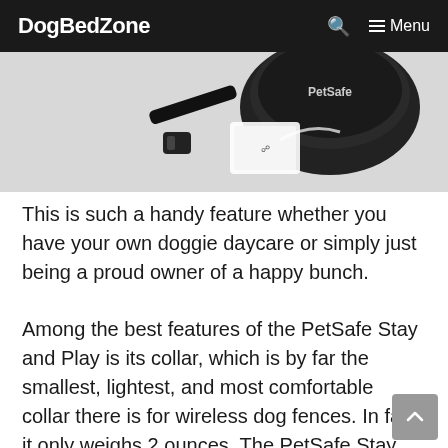DogBedZone  🔍  ☰ Menu
[Figure (photo): Photo of a PetSafe wireless dog fence collar and transmitter base unit on a white background]
This is such a handy feature whether you have your own doggie daycare or simply just being a proud owner of a happy bunch.
Among the best features of the PetSafe Stay and Play is its collar, which is by far the smallest, lightest, and most comfortable collar there is for wireless dog fences. In fact, it only weighs 2 ounces. The PetSafe Stay and Play's wireless collar contains a rechargeable lithium-ion battery that can last up to 2-3 weeks (depending